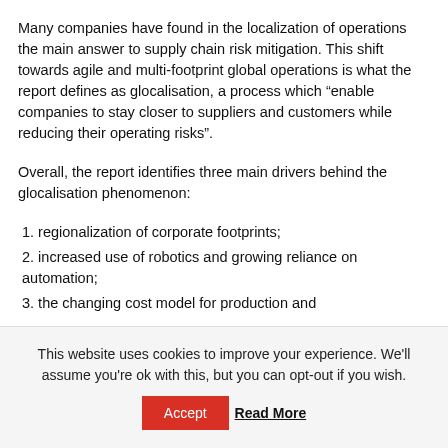Many companies have found in the localization of operations the main answer to supply chain risk mitigation. This shift towards agile and multi-footprint global operations is what the report defines as glocalisation, a process which “enable companies to stay closer to suppliers and customers while reducing their operating risks”.
Overall, the report identifies three main drivers behind the glocalisation phenomenon:
1. regionalization of corporate footprints;
2. increased use of robotics and growing reliance on automation;
3. the changing cost model for production and
This website uses cookies to improve your experience. We’ll assume you’re ok with this, but you can opt-out if you wish.